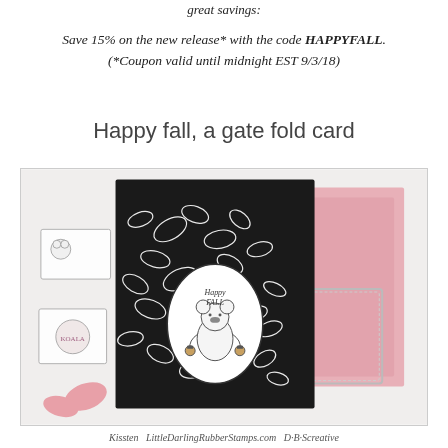great savings:
Save 15% on the new release* with the code HAPPYFALL. (*Coupon valid until midnight EST 9/3/18)
Happy fall, a gate fold card
[Figure (photo): A handmade gate fold card featuring black and white leaf-patterned panels with an oval center stamp of a koala holding acorns with text 'Happy Fall', surrounded by crafting supplies including rubber stamps, pink embossed paper, and a silver decorative frame.]
Kissten  LittleDarlingRubberStamps.com  D·B·Screative